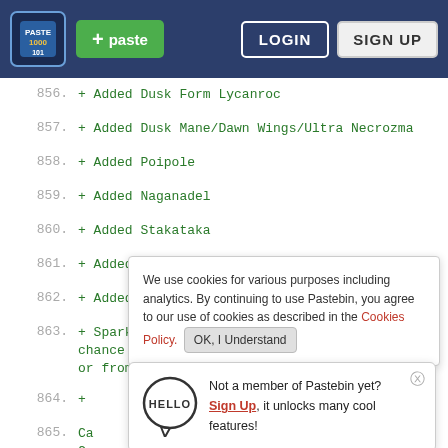Pastebin navigation bar with logo, paste button, LOGIN and SIGN UP buttons
856. + Added Dusk Form Lycanroc
857. + Added Dusk Mane/Dawn Wings/Ultra Necrozma
858. + Added Poipole
859. + Added Naganadel
860. + Added Stakataka
861. + Added Blacephalon
862. + Added Zeraora
863. + Sparkling Stone (found anywhere at a low chance or from any Tapu, required for Z-Crystals)
864. +
865. Ca
     Ge
     x1
     in
866.
867. -
868. - Gave Mega/Legendary/Mythical Pokemon natural
We use cookies for various purposes including analytics. By continuing to use Pastebin, you agree to our use of cookies as described in the Cookies Policy.  OK, I Understand
Not a member of Pastebin yet? Sign Up, it unlocks many cool features!